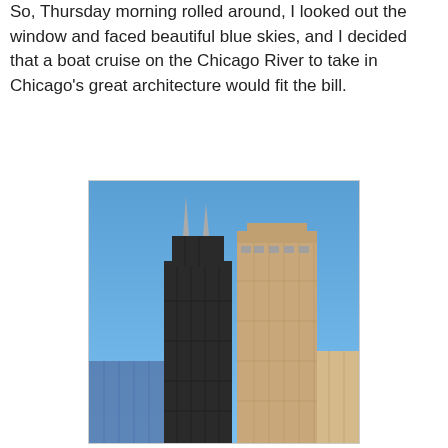So, Thursday morning rolled around, I looked out the window and faced beautiful blue skies, and I decided that a boat cruise on the Chicago River to take in Chicago's great architecture would fit the bill.
[Figure (photo): Photograph looking up at two tall Chicago skyscrapers (Willis Tower and another tower) against a clear blue sky, taken from a low angle from the Chicago River.]